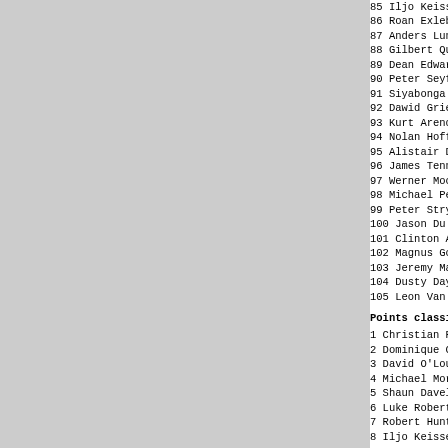85 Iljo Keisse (Bel) Belgian National Te
86 Roan Exleby (RSA) USN - Fulimput Clot
87 Anders Lund (Nor) Team Sparebanken Ve
88 Gilbert Quevauviluers (RSA) CSC/Marce
89 Dean Edwards (RSA) House of Paints
90 Peter Seyffert (RSA) Team Konica Mind
91 Siyabonga Mnqwazi (RSA) ACSIS
92 Dawid Griessel (RSA) CSC/Marcello
93 Kurt Arendse (RSA) ACSIS
94 Nolan Hoffmann (RSA) Team Neotel
95 Alistair Davies (RSA) Club 100
96 James Tennent (RSA) Southeby's Cosmet
97 Werner Moolman (RSA) Venezia
98 Michael Pepper (RSA) House of Paints
99 Peter Strydom (RSA) Computer-Smith
100 Jason Du Preez (RSA) Computer-Smith
101 Clinton Avery (NZl) UCI World Cyclin
102 Magnus Gouws (RSA) Tekton Kitchens
103 Jeremy Maertens (RSA) Team Neotel
104 Dusty Day (RSA) Tekton Kitchens
105 Leon Van Bon (Ned) Trek - Marco Polo
Points classification
1 Christian Pfannberger (Aut) Barloworld
2 Dominique Cornu (Bel) Belgian National
3 David O'Loughlin (Irl) Pezula Racing
4 Michael Morkov (Den) Danish National T
5 Shaun Davel (RSA) Pro Mr Price WP
6 Luke Roberts (Aus) Team Kuota - Senges
7 Robert Hunter (RSA) Barloworld
8 Iljo Keisse (Bel) Belgian National Tea